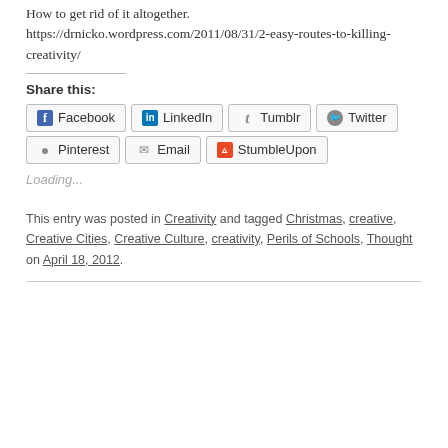How to get rid of it altogether. https://drnicko.wordpress.com/2011/08/31/2-easy-routes-to-killing-creativity/
Share this:
Facebook | LinkedIn | Tumblr | Twitter | Pinterest | Email | StumbleUpon
Loading...
This entry was posted in Creativity and tagged Christmas, creative, Creative Cities, Creative Culture, creativity, Perils of Schools, Thought on April 18, 2012.